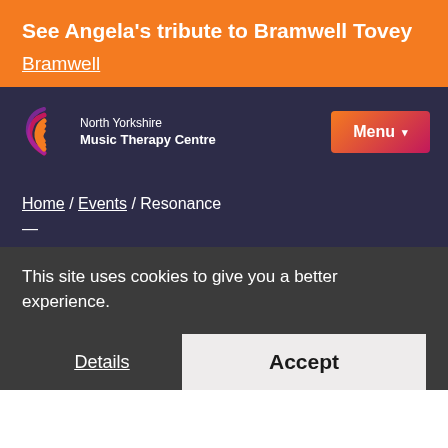See Angela's tribute to Bramwell Tovey
Bramwell
[Figure (logo): North Yorkshire Music Therapy Centre logo with sound wave icon in orange/purple gradient]
Menu
Home / Events / Resonance
—
This site uses cookies to give you a better experience.
Details
Accept